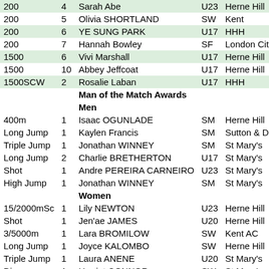| Event | Num | Name | Cat | Club |
| --- | --- | --- | --- | --- |
| 200 | 4 | Sarah Abe | U23 | Herne Hill |
| 200 | 5 | Olivia SHORTLAND | SW | Kent |
| 200 | 6 | YE SUNG PARK | U17 | HHH |
| 200 | 7 | Hannah Bowley | SF | London Cit |
| 1500 | 6 | Vivi Marshall | U17 | Herne Hill |
| 1500 | 10 | Abbey Jeffcoat | U17 | Herne Hill |
| 1500SCW | 2 | Rosalie Laban | U17 | HHH |
|  |  | Man of the Match Awards |  |  |
|  |  | Men |  |  |
| 400m | 1 | Isaac OGUNLADE | SM | Herne Hill |
| Long Jump | 1 | Kaylen Francis | SM | Sutton & D |
| Triple Jump | 1 | Jonathan WINNEY | SM | St Mary's |
| Long Jump | 2 | Charlie BRETHERTON | U17 | St Mary's |
| Shot | 1 | Andre PEREIRA CARNEIRO | U23 | St Mary's |
| High Jump | 1 | Jonathan WINNEY | SM | St Mary's |
|  |  | Women |  |  |
| 15/2000mSc | 1 | Lily NEWTON | U23 | Herne Hill |
| Shot | 1 | Jen'ae JAMES | U20 | Herne Hill |
| 3/5000m | 1 | Lara BROMILOW | SW | Kent AC |
| Long Jump | 1 | Joyce KALOMBO | SW | Herne Hill |
| Triple Jump | 1 | Laura ANENE | U20 | St Mary's |
| Discus | 1 | Harriet CONNOR | SW | St Mary's |